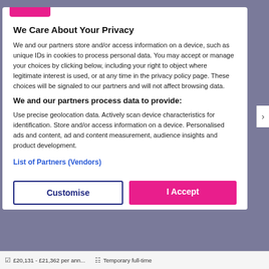We Care About Your Privacy
We and our partners store and/or access information on a device, such as unique IDs in cookies to process personal data. You may accept or manage your choices by clicking below, including your right to object where legitimate interest is used, or at any time in the privacy policy page. These choices will be signaled to our partners and will not affect browsing data.
We and our partners process data to provide:
Use precise geolocation data. Actively scan device characteristics for identification. Store and/or access information on a device. Personalised ads and content, ad and content measurement, audience insights and product development.
List of Partners (Vendors)
Customise
I Accept
£20,131 - £21,362 per ann...   Temporary full-time